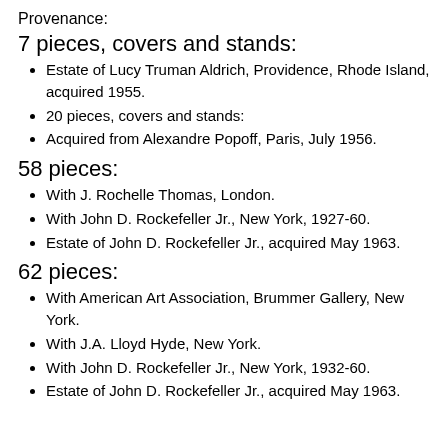Provenance:
7 pieces, covers and stands:
Estate of Lucy Truman Aldrich, Providence, Rhode Island, acquired 1955.
20 pieces, covers and stands:
Acquired from Alexandre Popoff, Paris, July 1956.
58 pieces:
With J. Rochelle Thomas, London.
With John D. Rockefeller Jr., New York, 1927-60.
Estate of John D. Rockefeller Jr., acquired May 1963.
62 pieces:
With American Art Association, Brummer Gallery, New York.
With J.A. Lloyd Hyde, New York.
With John D. Rockefeller Jr., New York, 1932-60.
Estate of John D. Rockefeller Jr., acquired May 1963.